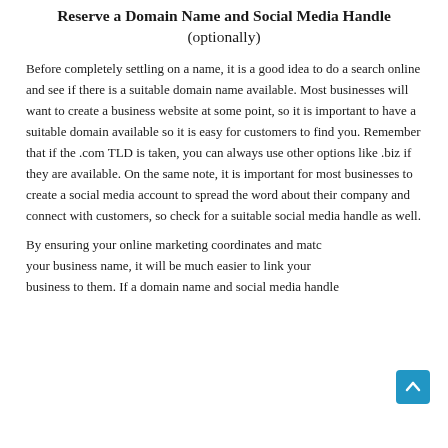Reserve a Domain Name and Social Media Handle (optionally)
Before completely settling on a name, it is a good idea to do a search online and see if there is a suitable domain name available. Most businesses will want to create a business website at some point, so it is important to have a suitable domain available so it is easy for customers to find you. Remember that if the .com TLD is taken, you can always use other options like .biz if they are available. On the same note, it is important for most businesses to create a social media account to spread the word about their company and connect with customers, so check for a suitable social media handle as well.
By ensuring your online marketing coordinates and matches your business name, it will be much easier to link your business to them. If a domain name and social media handle